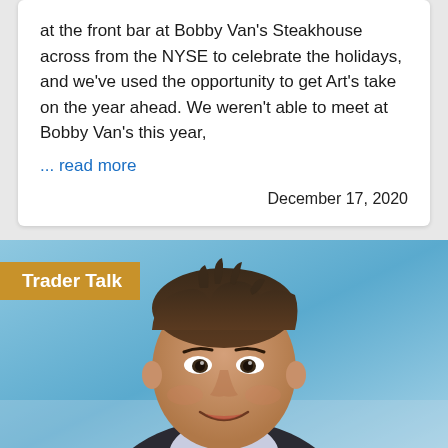at the front bar at Bobby Van's Steakhouse across from the NYSE to celebrate the holidays, and we've used the opportunity to get Art's take on the year ahead. We weren't able to meet at Bobby Van's this year,
... read more
December 17, 2020
[Figure (photo): Photo of a man (Elon Musk) smiling, with a blue sky background. A 'Trader Talk' label badge overlays the top-left corner of the image.]